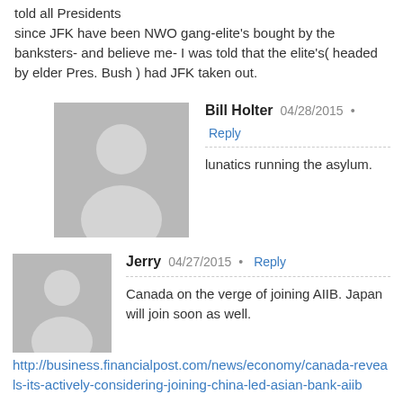told all Presidents since JFK have been NWO gang-elite's bought by the banksters- and believe me- I was told that the elite's( headed by elder Pres. Bush ) had JFK taken out.
Bill Holter • 04/28/2015 • Reply
lunatics running the asylum.
Jerry • 04/27/2015 • Reply
Canada on the verge of joining AIIB. Japan will join soon as well.
http://business.financialpost.com/news/economy/canada-reveals-its-actively-considering-joining-china-led-asian-bank-aiib
Colin - 'the farmer from NZ' • Reply
04/28/2015 •
Jerry
At this rate the headlines will soon